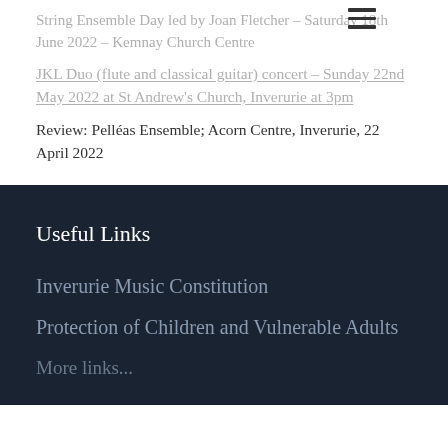String Ensemble Day led by Joan Fletcher – Saturday 18th June 2022 – Kemnay Church Centre
JKL Duo (flute and classical guitar) concert – Sunday 22nd May 2022 at St Andrew's Church, Inverurie at 3pm
Review: Pelléas Ensemble; Acorn Centre, Inverurie, 22 April 2022
Useful Links
Inverurie Music Constitution
Protection of Children and Vulnerable Adults
More links...